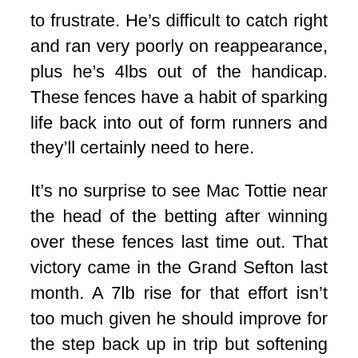to frustrate. He's difficult to catch right and ran very poorly on reappearance, plus he's 4lbs out of the handicap. These fences have a habit of sparking life back into out of form runners and they'll certainly need to here.
It's no surprise to see Mac Tottie near the head of the betting after winning over these fences last time out. That victory came in the Grand Sefton last month. A 7lb rise for that effort isn't too much given he should improve for the step back up in trip but softening ground is a slight concern. He has won on soft before but he's generally considered a horse that is better on a slightly sounder surface.